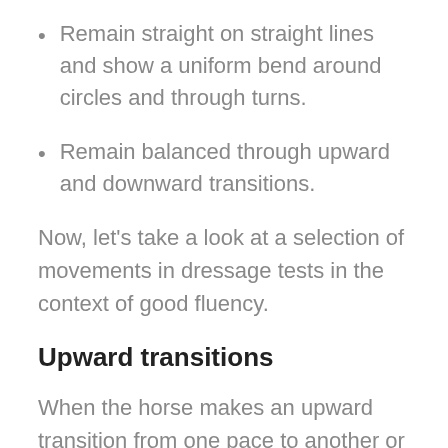Remain straight on straight lines and show a uniform bend around circles and through turns.
Remain balanced through upward and downward transitions.
Now, let's take a look at a selection of movements in dressage tests in the context of good fluency.
Upward transitions
When the horse makes an upward transition from one pace to another or within a pace,